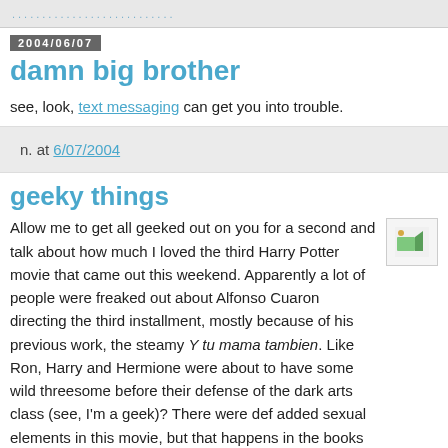..............................
2004/06/07
damn big brother
see, look, text messaging can get you into trouble.
n. at 6/07/2004
geeky things
Allow me to get all geeked out on you for a second and talk about how much I loved the third Harry Potter movie that came out this weekend. Apparently a lot of people were freaked out about Alfonso Cuaron directing the third installment, mostly because of his previous work, the steamy Y tu mama tambien. Like Ron, Harry and Hermione were about to have some wild threesome before their defense of the dark arts class (see, I'm a geek)? There were def added sexual elements in this movie, but that happens in the books